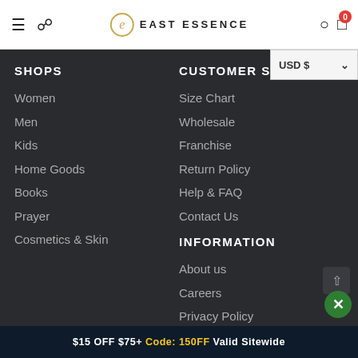East Essence - Header navigation with hamburger menu, search, logo, user account, and cart (0 items)
SHOPS
Women
Men
Kids
Home Goods
Books
Prayer
Cosmetics & Skin
CUSTOMER SERVICE
Size Chart
Wholesale
Franchise
Return Policy
Help & FAQ
Contact Us
INFORMATION
About us
Careers
Privacy Policy
Terms & Conditions
Blogs
$15 OFF $75+ Code: 150FF Valid Sitewide